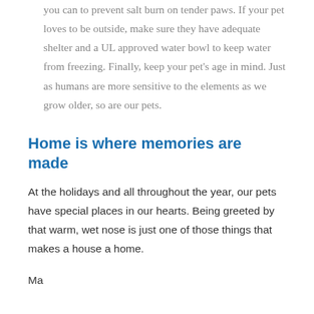you can to prevent salt burn on tender paws. If your pet loves to be outside, make sure they have adequate shelter and a UL approved water bowl to keep water from freezing. Finally, keep your pet's age in mind. Just as humans are more sensitive to the elements as we grow older, so are our pets.
Home is where memories are made
At the holidays and all throughout the year, our pets have special places in our hearts. Being greeted by that warm, wet nose is just one of those things that makes a house a home.
Ma...